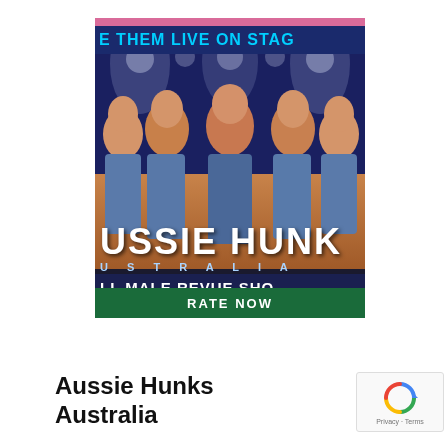[Figure (photo): Advertisement for Aussie Hunks Australia all-male revue show. Shows five shirtless muscular men in jeans against a dark stage background with spotlights. Text reads 'E THEM LIVE ON STAG', 'USSIE HUNKS', 'USTRALIA', 'LL MALE REVUE SHO'. Pink bar at top. Green 'RATE NOW' button at bottom.]
Aussie Hunks Australia